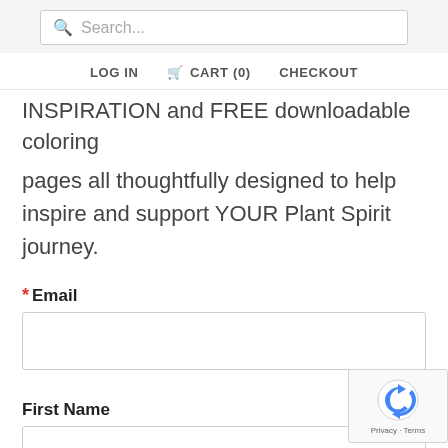Search...
LOG IN   CART (0)   CHECKOUT
INSPIRATION and FREE downloadable coloring pages all thoughtfully designed to help inspire and support YOUR Plant Spirit journey.
* Email
First Name
Last Name